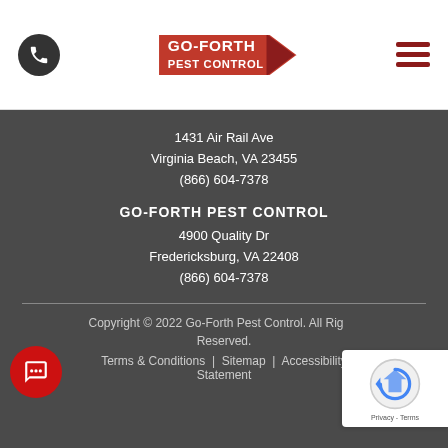[Figure (logo): Go-Forth Pest Control logo with red arrow pointing right, white text on red background]
1431 Air Rail Ave
Virginia Beach, VA 23455
(866) 604-7378
GO-FORTH PEST CONTROL
4900 Quality Dr
Fredericksburg, VA 22408
(866) 604-7378
Copyright © 2022 Go-Forth Pest Control. All Rights Reserved.
Terms & Conditions  |  Sitemap  |  Accessibility Statement